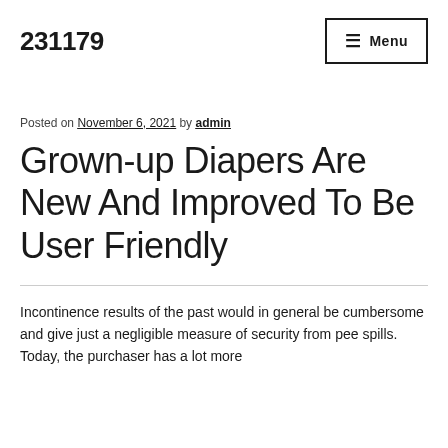231179
Posted on November 6, 2021 by admin
Grown-up Diapers Are New And Improved To Be User Friendly
Incontinence results of the past would in general be cumbersome and give just a negligible measure of security from pee spills. Today, the purchaser has a lot more